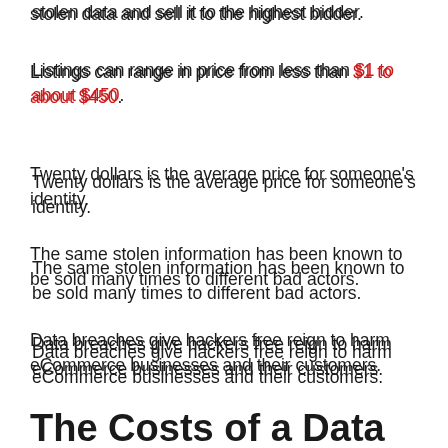stolen data and sell it to the highest bidder.
Listings can range in price from less than $1 to about $450.
Twenty dollars is the average price for someone's identity.
The same stolen information has been known to be sold many times to different bad actors.
Data breaches give hackers free reign to harm eCommerce businesses and their customers.
Data security is a must-have for companies concerned with protecting their data.
The Costs of a Data